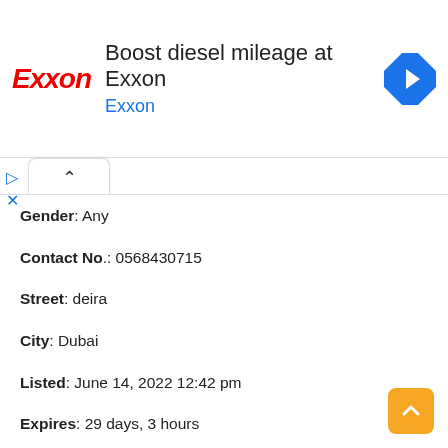[Figure (screenshot): Exxon advertisement banner with red Exxon logo, text 'Boost diesel mileage at Exxon' and blue navigation arrow icon]
Gender: Any
Contact No.: 0568430715
Street: deira
City: Dubai
Listed: June 14, 2022 12:42 pm
Expires: 29 days, 3 hours
DATA ENTRY OPERATOR REQUIRED
Industry: Advertising